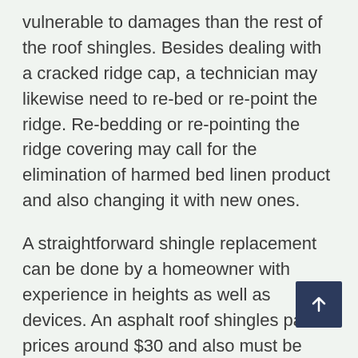vulnerable to damages than the rest of the roof shingles. Besides dealing with a cracked ridge cap, a technician may likewise need to re-bed or re-point the ridge. Re-bedding or re-pointing the ridge covering may call for the elimination of harmed bed linen product and also changing it with new ones.
A straightforward shingle replacement can be done by a homeowner with experience in heights as well as devices. An asphalt roof shingles pack prices around $30 and also must be enough for standard patching. A storm may tear a patch off the roof covering. Damaged outdoor decking and also harmed shingles may also bring about leakages. The cost of a ridge cap substitute can vary anywhere from $250 to $700 per square foot. This fixing is a fundamental part of a roof's general upkeep.